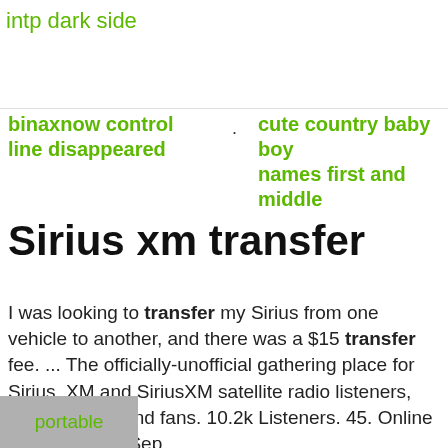intp dark side
binaxnow control line disappeared
cute country baby boy names first and middle
Sirius xm transfer
I was looking to transfer my Sirius from one vehicle to another, and there was a $15 transfer fee. ... The officially-unofficial gathering place for Sirius, XM and SiriusXM satellite radio listeners, broadcasters and fans. 10.2k Listeners. 45. Online Now. Created Sep
ikea
portable